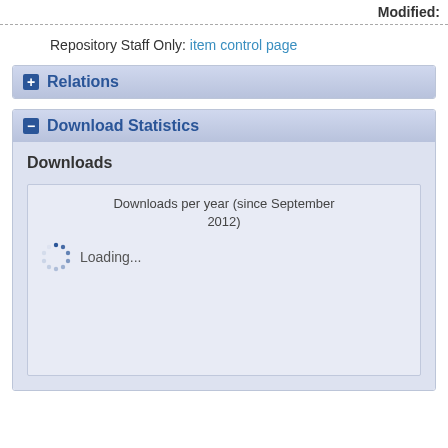Modified:
Repository Staff Only: item control page
+ Relations
- Download Statistics
Downloads
[Figure (other): Loading spinner with text: Downloads per year (since September 2012) Loading...]